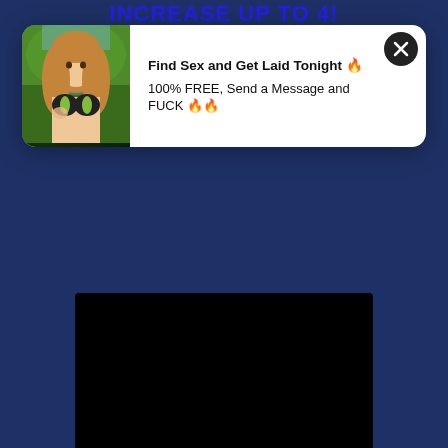INCREASE UP TO 4!
[Figure (photo): Popup overlay card with a photo of a young woman in a bikini top on the left, and text on the right reading 'Find Sex and Get Laid Tonight' and '100% FREE, Send a Message and FUCK', with a circular X close button in the top right corner of the card]
Find Sex and Get Laid Tonight 🔥
100% FREE, Send a Message and FUCK 🔥🔥
[Figure (other): Black rectangle representing a video player or content area at the bottom center of the page]